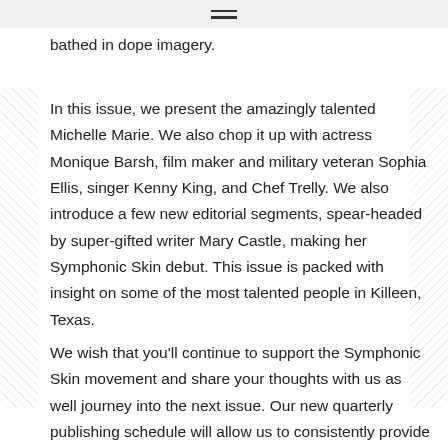≡
bathed in dope imagery.
In this issue, we present the amazingly talented Michelle Marie. We also chop it up with actress Monique Barsh, film maker and military veteran Sophia Ellis, singer Kenny King, and Chef Trelly. We also introduce a few new editorial segments, spear-headed by super-gifted writer Mary Castle, making her Symphonic Skin debut. This issue is packed with insight on some of the most talented people in Killeen, Texas.
We wish that you'll continue to support the Symphonic Skin movement and share your thoughts with us as well journey into the next issue. Our new quarterly publishing schedule will allow us to consistently provide the content that matters to you and stirs interest